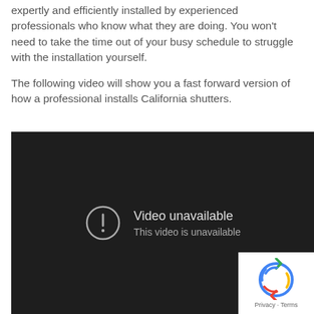expertly and efficiently installed by experienced professionals who know what they are doing. You won't need to take the time out of your busy schedule to struggle with the installation yourself.

The following video will show you a fast forward version of how a professional installs California shutters.
[Figure (screenshot): Embedded YouTube video player showing 'Video unavailable' error message with warning icon circle and text 'This video is unavailable'. Dark background. reCAPTCHA badge in bottom-right corner.]